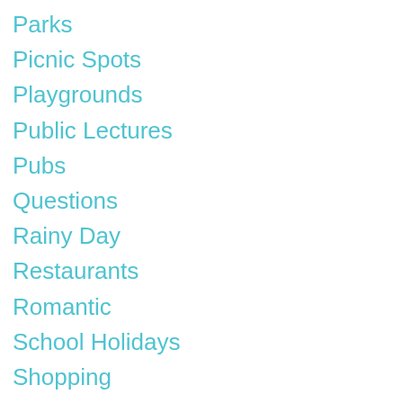Parks
Picnic Spots
Playgrounds
Public Lectures
Pubs
Questions
Rainy Day
Restaurants
Romantic
School Holidays
Shopping
Sport
Theatre
Walks